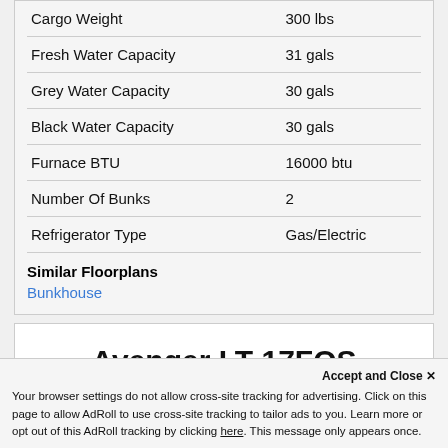| Spec | Value |
| --- | --- |
| Cargo Weight | 300 lbs |
| Fresh Water Capacity | 31 gals |
| Grey Water Capacity | 30 gals |
| Black Water Capacity | 30 gals |
| Furnace BTU | 16000 btu |
| Number Of Bunks | 2 |
| Refrigerator Type | Gas/Electric |
Similar Floorplans
Bunkhouse
Avenger LT 17FQS
Accept and Close ✕
Your browser settings do not allow cross-site tracking for advertising. Click on this page to allow AdRoll to use cross-site tracking to tailor ads to you. Learn more or opt out of this AdRoll tracking by clicking here. This message only appears once.